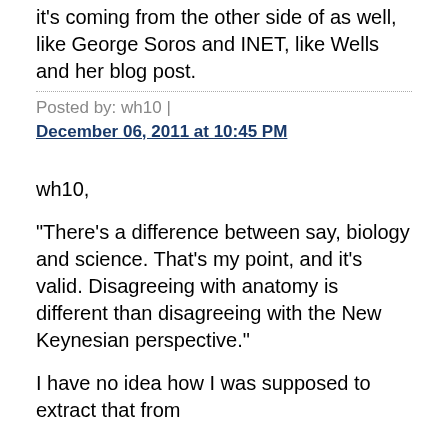it's coming from the other side of as well, like George Soros and INET, like Wells and her blog post.
Posted by: wh10 | December 06, 2011 at 10:45 PM
wh10,
"There's a difference between say, biology and science. That's my point, and it's valid. Disagreeing with anatomy is different than disagreeing with the New Keynesian perspective."
I have no idea how I was supposed to extract that from